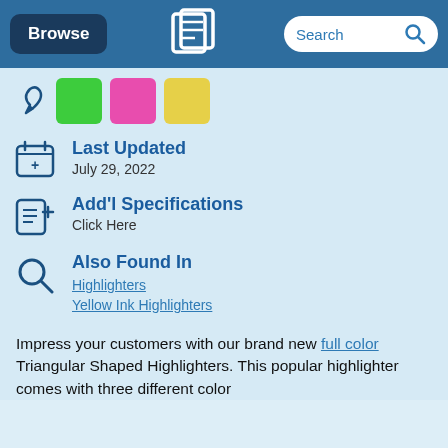Browse | [Logo] | Search
[Figure (illustration): Three color swatches: green, pink/magenta, and yellow squares with a cursor/arrow icon to the left]
Last Updated
July 29, 2022
Add'l Specifications
Click Here
Also Found In
Highlighters
Yellow Ink Highlighters
Impress your customers with our brand new full color Triangular Shaped Highlighters. This popular highlighter comes with three different color